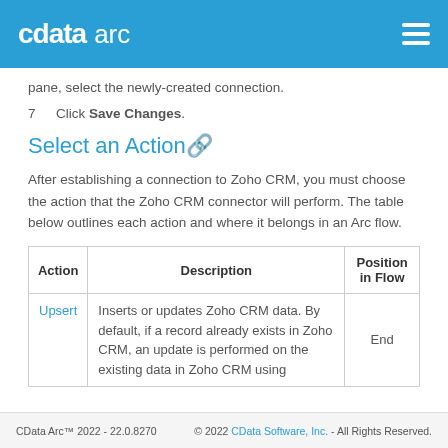CData arc
pane, select the newly-created connection.
7   Click Save Changes.
Select an Action🔗
After establishing a connection to Zoho CRM, you must choose the action that the Zoho CRM connector will perform. The table below outlines each action and where it belongs in an Arc flow.
| Action | Description | Position in Flow |
| --- | --- | --- |
| Upsert | Inserts or updates Zoho CRM data. By default, if a record already exists in Zoho CRM, an update is performed on the existing data in Zoho CRM using | End |
CData Arc™ 2022 - 22.0.8270   © 2022 CData Software, Inc. - All Rights Reserved.